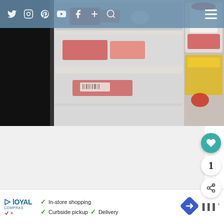[Figure (screenshot): Website navigation bar with social media icons (Twitter, Instagram, Pinterest, YouTube, Facebook, Plus, Search) on a semi-transparent blue-grey background, with hamburger menu on right]
[Figure (photo): Close-up photo of an open refrigerator showing clear plastic drawers with food items including packaged meats and other groceries visible]
[Figure (screenshot): Floating action buttons on right side: teal heart button, white circle with number 1, white share button]
[Figure (screenshot): Advertisement bar at bottom showing Loyal Compras logo, green checkmarks with text 'In-store shopping', 'Curbside pickup', 'Delivery', a blue direction sign icon, and a Waze-style logo]